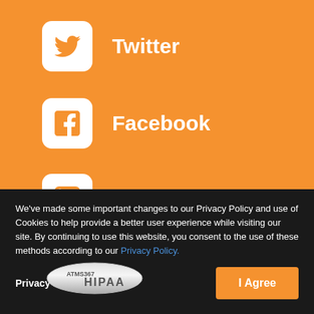Twitter
Facebook
LinkedIn
[Figure (logo): HIPAA seal/badge with silver metallic appearance and HIPAA text]
We've made some important changes to our Privacy Policy and use of Cookies to help provide a better user experience while visiting our site. By continuing to use this website, you consent to the use of these methods according to our Privacy Policy.
Privacy Preferences
I Agree